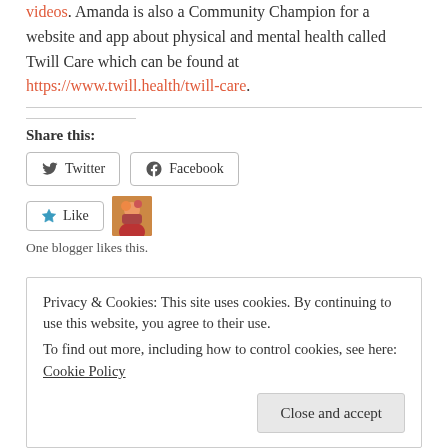videos. Amanda is also a Community Champion for a website and app about physical and mental health called Twill Care which can be found at https://www.twill.health/twill-care.
Share this:
Twitter  Facebook
Like
One blogger likes this.
Privacy & Cookies: This site uses cookies. By continuing to use this website, you agree to their use. To find out more, including how to control cookies, see here: Cookie Policy
Close and accept